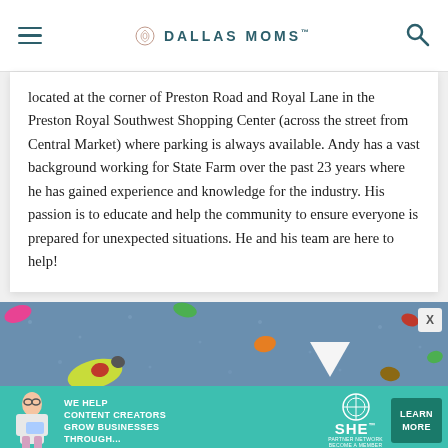DALLAS MOMS
located at the corner of Preston Road and Royal Lane in the Preston Royal Southwest Shopping Center (across the street from Central Market) where parking is always available. Andy has a vast background working for State Farm over the past 23 years where he has gained experience and knowledge for the industry. His passion is to educate and help the community to ensure everyone is prepared for unexpected situations. He and his team are here to help!
[Figure (photo): Overhead view of a climbing wall with colorful holds on a blue textured surface, including yellow, green, red, orange holds, and a white triangle hold. An X close button appears in the top right corner.]
[Figure (infographic): Advertisement banner with teal background showing a woman, text 'WE HELP CONTENT CREATORS GROW BUSINESSES THROUGH...', SHE Media Partner Network logo, and a dark green 'LEARN MORE' button.]